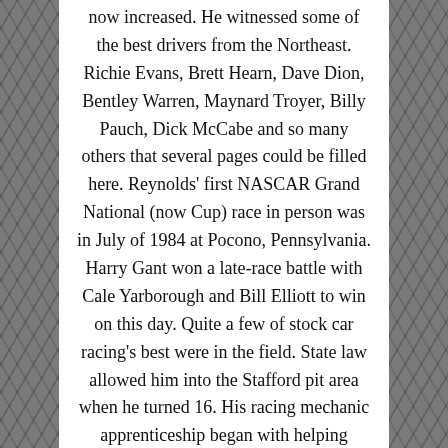now increased. He witnessed some of the best drivers from the Northeast. Richie Evans, Brett Hearn, Dave Dion, Bentley Warren, Maynard Troyer, Billy Pauch, Dick McCabe and so many others that several pages could be filled here. Reynolds' first NASCAR Grand National (now Cup) race in person was in July of 1984 at Pocono, Pennsylvania. Harry Gant won a late-race battle with Cale Yarborough and Bill Elliott to win on this day. Quite a few of stock car racing's best were in the field. State law allowed him into the Stafford pit area when he turned 16. His racing mechanic apprenticeship began with helping drivers Jimmy Broderick and Ed Flemke Jr. in the late 1980s. His dedication stretched to the point where he never attended any of his high school proms. They were held on race nights and race nights were not